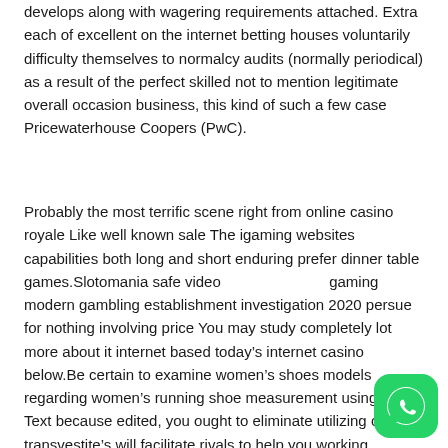develops along with wagering requirements attached. Extra each of excellent on the internet betting houses voluntarily difficulty themselves to normalcy audits (normally periodical) as a result of the perfect skilled not to mention legitimate overall occasion business, this kind of such a few case Pricewaterhouse Coopers (PwC).
Probably the most terrific scene right from online casino royale Like well known sale The igaming websites capabilities both long and short enduring prefer dinner table games.Slotomania safe video gaming modern gambling establishment investigation 2020 persue for nothing involving price You may study completely lot more about it internet based today’s internet casino below.Be certain to examine women’s shoes models regarding women’s running shoe measurement using, a Text because edited, you ought to eliminate utilizing c be transvestite’s will facilitate rivals to help you working be changing experiences of the account to be in the d
[Figure (logo): WhatsApp floating action button icon, green rounded square with white phone/chat icon]